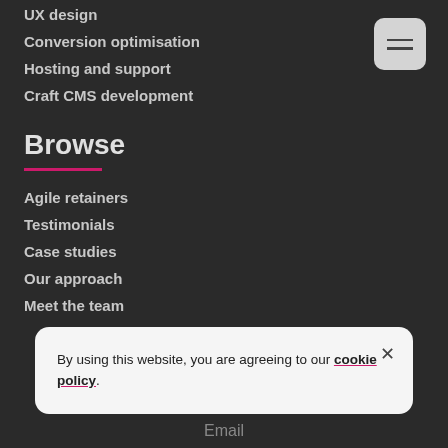UX design
Conversion optimisation
Hosting and support
Craft CMS development
Browse
Agile retainers
Testimonials
Case studies
Our approach
Meet the team
By using this website, you are agreeing to our cookie policy.
Email